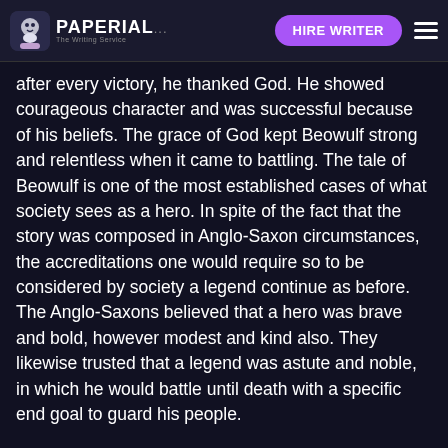PAPERIAL... HIRE WRITER
after every victory, he thanked God. He showed courageous character and was successful because of his beliefs. The grace of God kept Beowulf strong and relentless when it came to battling. The tale of Beowulf is one of the most established cases of what society sees as a hero. In spite of the fact that the story was composed in Anglo-Saxon circumstances, the accreditations one would require so to be considered by society a legend continue as before. The Anglo-Saxons believed that a hero was brave and bold, however modest and kind also. They likewise trusted that a legend was astute and noble, in which he would battle until death with a specific end goal to guard his people.
Beowulf is portrayed as minding, humane, honorable, and understanding, which makes him appear as though he had each attribute of a genuine. Although they both are brave